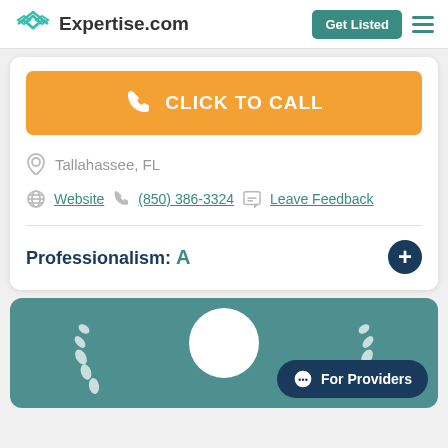Expertise.com | Get Listed
[Figure (screenshot): Orange CLICK TO CALL button with phone icon]
Tallahassee, FL
Website | (850) 386-3324 | Leave Feedback
Professionalism: A
[Figure (illustration): Teal card with white profile circle, laurel wreath icons, and For Providers chat button]